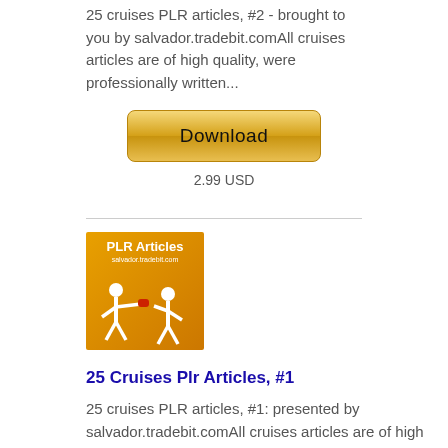25 cruises PLR articles, #2 - brought to you by salvador.tradebit.comAll cruises articles are of high quality, were professionally written...
[Figure (other): Download button with golden gradient styling]
2.99 USD
[Figure (illustration): PLR Articles product image with orange background, two white boxing figures, text 'PLR Articles' and 'salvador.tradebit.com']
25 Cruises Plr Articles, #1
25 cruises PLR articles, #1: presented by salvador.tradebit.comAll cruises articles are of high quality and come with PLR. They are...